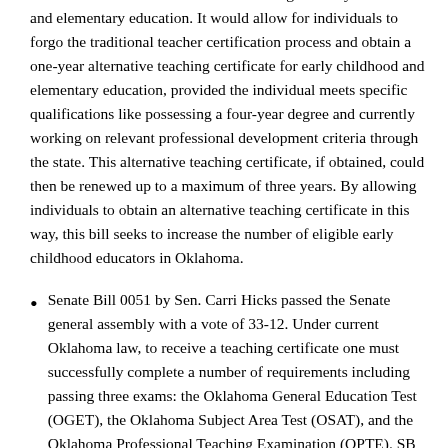6. This bill aims to combat teacher shortage in early childhood and elementary education. It would allow for individuals to forgo the traditional teacher certification process and obtain a one-year alternative teaching certificate for early childhood and elementary education, provided the individual meets specific qualifications like possessing a four-year degree and currently working on relevant professional development criteria through the state. This alternative teaching certificate, if obtained, could then be renewed up to a maximum of three years. By allowing individuals to obtain an alternative teaching certificate in this way, this bill seeks to increase the number of eligible early childhood educators in Oklahoma.
Senate Bill 0051 by Sen. Carri Hicks passed the Senate general assembly with a vote of 33-12. Under current Oklahoma law, to receive a teaching certificate one must successfully complete a number of requirements including passing three exams: the Oklahoma General Education Test (OGET), the Oklahoma Subject Area Test (OSAT), and the Oklahoma Professional Teaching Examination (OPTE). SB 0051 removes the Oklahoma General Education Test (OGET) as a requirement to obtain a traditional or alternative teaching certificate in Oklahoma. By removing the OGET